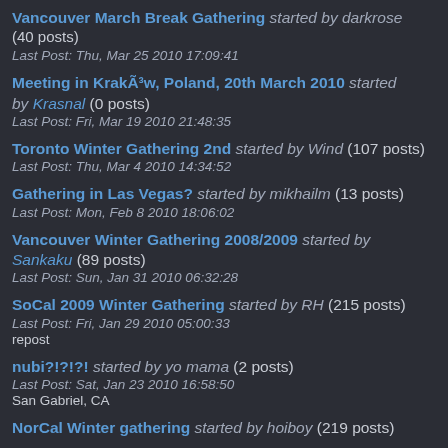Vancouver March Break Gathering started by darkrose (40 posts)
Last Post: Thu, Mar 25 2010 17:09:41
Meeting in Kraków, Poland, 20th March 2010 started by Krasnal (0 posts)
Last Post: Fri, Mar 19 2010 21:48:35
Toronto Winter Gathering 2nd started by Wind (107 posts)
Last Post: Thu, Mar 4 2010 14:34:52
Gathering in Las Vegas? started by mikhailm (13 posts)
Last Post: Mon, Feb 8 2010 18:06:02
Vancouver Winter Gathering 2008/2009 started by Sankaku (89 posts)
Last Post: Sun, Jan 31 2010 06:32:28
SoCal 2009 Winter Gathering started by RH (215 posts)
Last Post: Fri, Jan 29 2010 05:00:33
repost
nubi?!?!?! started by yo mama (2 posts)
Last Post: Sat, Jan 23 2010 16:58:50
San Gabriel, CA
NorCal Winter gathering started by hoiboy (219 posts)